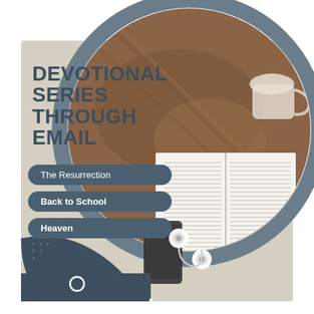[Figure (illustration): Devotional Series Through Email promotional graphic. Features a beige/tan background with a large circular frame showing a wooden table with an open Bible, earphones, and smartphone. Dark navy blue accent shapes and decorative dot pattern in bottom left. Three topic pills listed: The Resurrection, Back to School, Heaven.]
DEVOTIONAL SERIES THROUGH EMAIL
The Resurrection
Back to School
Heaven